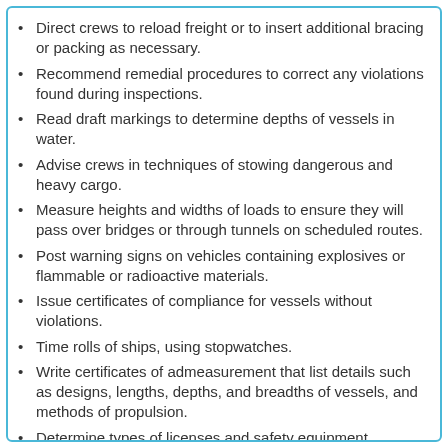Direct crews to reload freight or to insert additional bracing or packing as necessary.
Recommend remedial procedures to correct any violations found during inspections.
Read draft markings to determine depths of vessels in water.
Advise crews in techniques of stowing dangerous and heavy cargo.
Measure heights and widths of loads to ensure they will pass over bridges or through tunnels on scheduled routes.
Post warning signs on vehicles containing explosives or flammable or radioactive materials.
Issue certificates of compliance for vessels without violations.
Time rolls of ships, using stopwatches.
Write certificates of admeasurement that list details such as designs, lengths, depths, and breadths of vessels, and methods of propulsion.
Determine types of licenses and safety equipment required, and compute applicable fees such as tolls and wharfage fees.